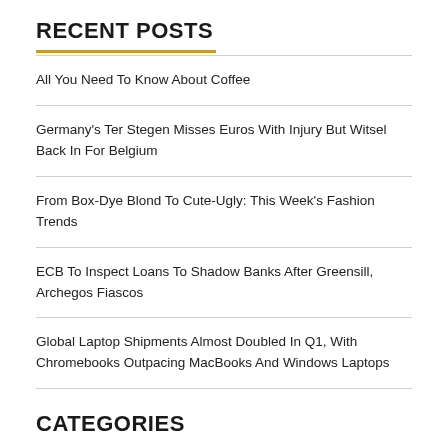RECENT POSTS
All You Need To Know About Coffee
Germany's Ter Stegen Misses Euros With Injury But Witsel Back In For Belgium
From Box-Dye Blond To Cute-Ugly: This Week's Fashion Trends
ECB To Inspect Loans To Shadow Banks After Greensill, Archegos Fiascos
Global Laptop Shipments Almost Doubled In Q1, With Chromebooks Outpacing MacBooks And Windows Laptops
CATEGORIES